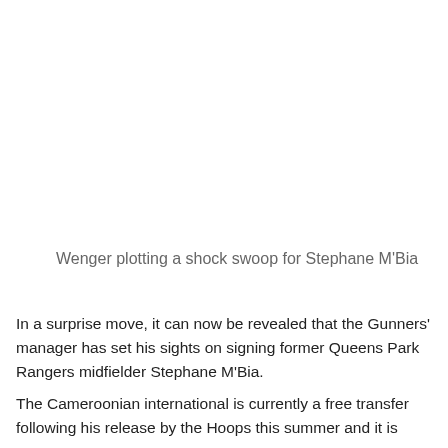Wenger plotting a shock swoop for Stephane M'Bia
In a surprise move, it can now be revealed that the Gunners' manager has set his sights on signing former Queens Park Rangers midfielder Stephane M'Bia.
The Cameroonian international is currently a free transfer following his release by the Hoops this summer and it is